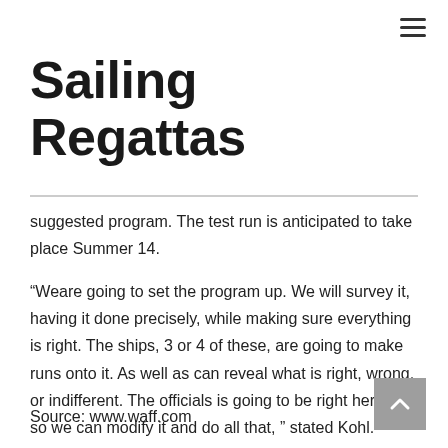Sailing Regattas
suggested program. The test run is anticipated to take place Summer 14.
“Weare going to set the program up. We will survey it, having it done precisely, while making sure everything is right. The ships, 3 or 4 of these, are going to make runs onto it. As well as can reveal what is right, wrong, or indifferent. The officials is going to be right here and so we can modify it and do all that, ” stated Kohl.
Source: www.waff.com